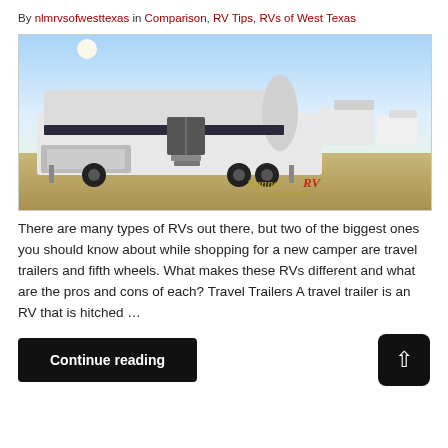By nlmrvsofwesttexas in Comparison, RV Tips, RVs of West Texas
[Figure (photo): A large fifth-wheel RV trailer parked in an outdoor RV lot, with a bright blue sky in the background. Hanner RV logo visible in the lower right corner.]
There are many types of RVs out there, but two of the biggest ones you should know about while shopping for a new camper are travel trailers and fifth wheels. What makes these RVs different and what are the pros and cons of each? Travel Trailers A travel trailer is an RV that is hitched …
Continue reading
↑